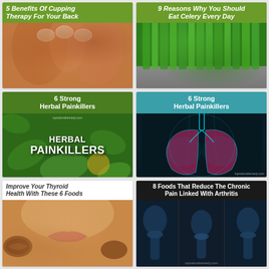[Figure (photo): Cupping therapy on person's back with glass cups, skin tones visible]
5 Benefits Of Cupping Therapy For Your Back
[Figure (photo): Fresh green celery plants]
9 Reasons Why You Should Eat Celery Every Day
[Figure (illustration): Book cover with herbal leaves background, text HERBAL PAINKILLERS]
6 Strong Herbal Painkillers
[Figure (illustration): Medical illustration of human lungs in cyan/teal tones on dark background]
6 Strong Herbal Painkillers
[Figure (photo): Close-up of person's lower face and walnuts]
Improve Your Thyroid Health With These 6 Foods
[Figure (photo): X-ray images of joints/arthritis]
8 Foods That Reduce The Chronic Pain Linked With Arthritis